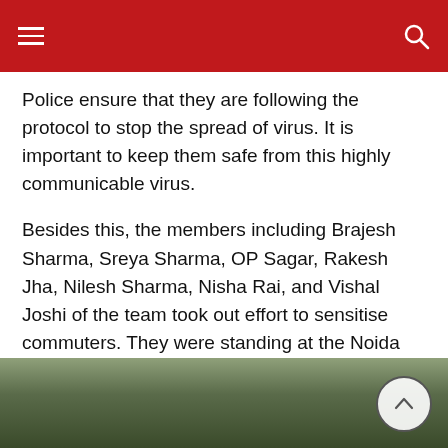≡  [search icon]
Police ensure that they are following the protocol to stop the spread of virus. It is important to keep them safe from this highly communicable virus.
Besides this, the members including Brajesh Sharma, Sreya Sharma, OP Sagar, Rakesh Jha, Nilesh Sharma, Nisha Rai, and Vishal Joshi of the team took out effort to sensitise commuters. They were standing at the Noida entry to aware commuters about stopping the spread of coronavirus.
They have also arranged an eye check-up camp at the office of traffic police. They benefited from the camp.
[Figure (photo): Partial view of a photograph showing outdoor foliage/greenery, visible at the bottom of the page with a scroll-up button overlay.]